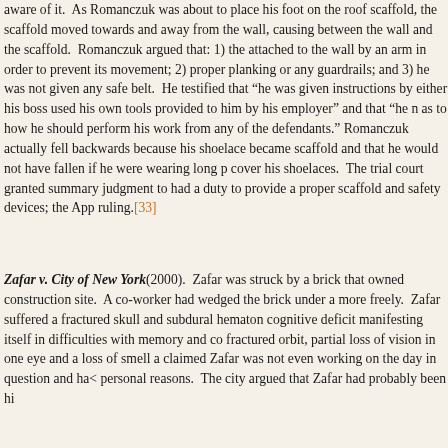aware of it.  As Romanczuk was about to place his foot on the roof scaffold, the scaffold moved towards and away from the wall, causing a gap between the wall and the scaffold.  Romanczuk argued that: 1) the scaffold should have been attached to the wall by an arm in order to prevent its movement; 2) the scaffold did not have proper planking or any guardrails; and 3) he was not given any safety harness or safety belt.  He testified that "he was given instructions by either his boss or a foreman" and "he used his own tools provided to him by his employer" and that "he never received directions as to how he should perform his work from any of the defendants."  Defendants argued that Romanczuk actually fell backwards because his shoelace became caught in a bolt on the scaffold and that he would not have fallen if he were wearing long pants that would cover his shoelaces.  The trial court granted summary judgment to defendants holding defendants had a duty to provide a proper scaffold and safety devices; the Appellate Division reversed the ruling.[33]
Zafar v. City of New York (2000).  Zafar was struck by a brick that fell at a city-owned construction site.  A co-worker had wedged the brick under a door so it would open more freely.  Zafar suffered a fractured skull and subdural hematoma and sustained a cognitive deficit manifesting itself in difficulties with memory and concentration, as well as a fractured orbit, partial loss of vision in one eye and a loss of smell and taste.  The city claimed Zafar was not even working on the day in question and had come to the site for personal reasons.  The city argued that Zafar had probably been hit